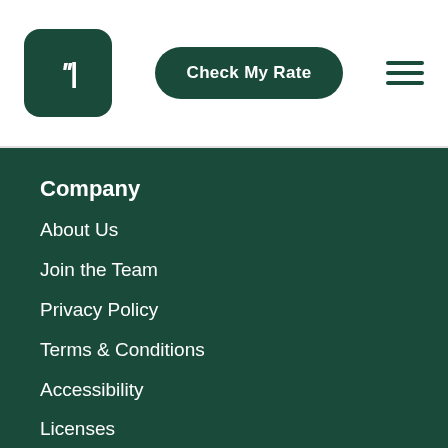Trim logo | Check My Rate | Menu
Company
About Us
Join the Team
Privacy Policy
Terms & Conditions
Accessibility
Licenses